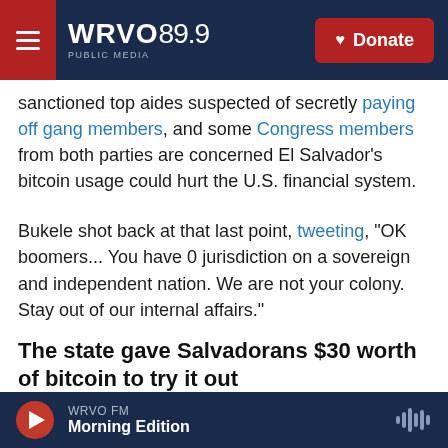WRVO 89.9 PUBLIC MEDIA — Donate
sanctioned top aides suspected of secretly paying off gang members, and some Congress members from both parties are concerned El Salvador's bitcoin usage could hurt the U.S. financial system.
Bukele shot back at that last point, tweeting, "OK boomers... You have 0 jurisdiction on a sovereign and independent nation. We are not your colony. Stay out of our internal affairs."
The state gave Salvadorans $30 worth of bitcoin to try it out
Bitcoin was his big play, and he advertises it...
WRVO FM — Morning Edition